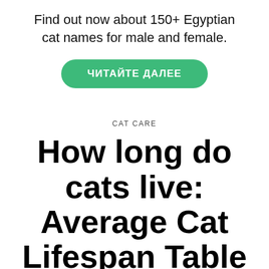Find out now about 150+ Egyptian cat names for male and female.
[Figure (other): Green rounded button with Cyrillic text ЧИТАЙТЕ ДАЛЕЕ (Read more)]
CAT CARE
How long do cats live: Average Cat Lifespan Table By Breed